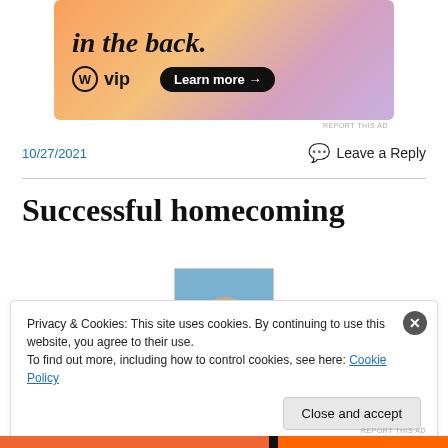[Figure (screenshot): WordPress VIP advertisement banner with gradient background, WP VIP logo, and 'Learn more' button]
REPORT THIS AD
10/27/2021
Leave a Reply
Successful homecoming
[Figure (photo): Portrait photo of a middle-aged bald man smiling, against a blue background]
Privacy & Cookies: This site uses cookies. By continuing to use this website, you agree to their use.
To find out more, including how to control cookies, see here: Cookie Policy
Close and accept